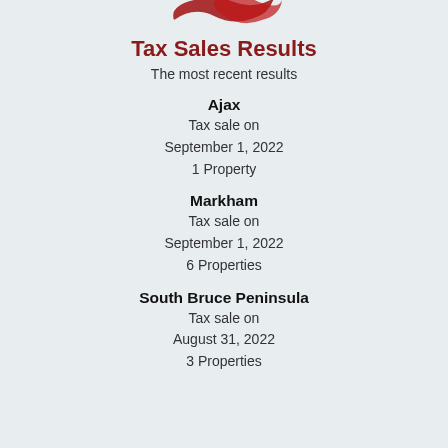[Figure (logo): Partial red logo/ribbon graphic at top]
Tax Sales Results
The most recent results
Ajax
Tax sale on
September 1, 2022
1 Property
Markham
Tax sale on
September 1, 2022
6 Properties
South Bruce Peninsula
Tax sale on
August 31, 2022
3 Properties